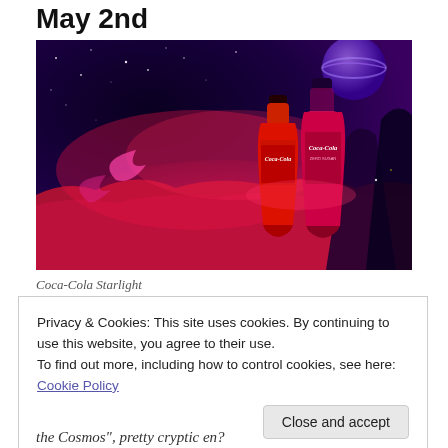May 2nd
[Figure (photo): Coca-Cola Starlight promotional photo showing two red Coca-Cola bottles against a vivid space/cosmic background with red nebula clouds, rocky terrain, and a planet visible in the upper right corner.]
Coca-Cola Starlight
Privacy & Cookies: This site uses cookies. By continuing to use this website, you agree to their use.
To find out more, including how to control cookies, see here:
Cookie Policy

Close and accept
the Cosmos", pretty cryptic en?